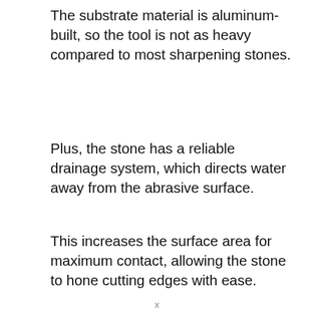The substrate material is aluminum-built, so the tool is not as heavy compared to most sharpening stones.
Plus, the stone has a reliable drainage system, which directs water away from the abrasive surface.
This increases the surface area for maximum contact, allowing the stone to hone cutting edges with ease.
In addition to this, the stone is flat, so all parts of
[Figure (photo): Advertisement banner showing an airplane being loaded with cargo. Text overlay reads 'WITHOUT REGARD TO POLITICS, RELIGION, OR ABILITY TO PAY'.]
x